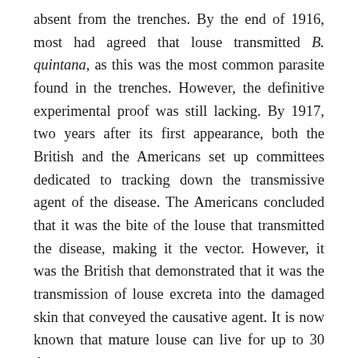absent from the trenches. By the end of 1916, most had agreed that louse transmitted B. quintana, as this was the most common parasite found in the trenches. However, the definitive experimental proof was still lacking. By 1917, two years after its first appearance, both the British and the Americans set up committees dedicated to tracking down the transmissive agent of the disease. The Americans concluded that it was the bite of the louse that transmitted the disease, making it the vector. However, it was the British that demonstrated that it was the transmission of louse excreta into the damaged skin that conveyed the causative agent. It is now known that mature louse can live for up to 30 days.
The infection itself is sudden, persistent and unpleasant. At the time of infection, it is common to experience a fever lasting between 2 to 6 days, accompanied by headaches, back and leg pain, and a fleeting rash. Recovery can take up to two months and relapse, even 15 years later, is common; about five percent of cases become chronic. The bacteria